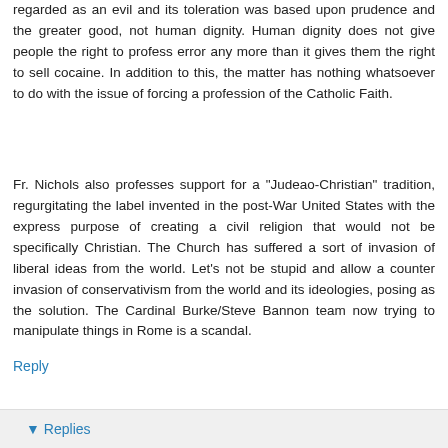regarded as an evil and its toleration was based upon prudence and the greater good, not human dignity. Human dignity does not give people the right to profess error any more than it gives them the right to sell cocaine. In addition to this, the matter has nothing whatsoever to do with the issue of forcing a profession of the Catholic Faith.
Fr. Nichols also professes support for a "Judeao-Christian" tradition, regurgitating the label invented in the post-War United States with the express purpose of creating a civil religion that would not be specifically Christian. The Church has suffered a sort of invasion of liberal ideas from the world. Let's not be stupid and allow a counter invasion of conservativism from the world and its ideologies, posing as the solution. The Cardinal Burke/Steve Bannon team now trying to manipulate things in Rome is a scandal.
Reply
▼ Replies